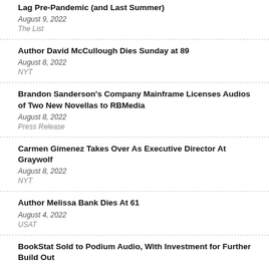Lag Pre-Pandemic (and Last Summer)
August 9, 2022
The List
Author David McCullough Dies Sunday at 89
August 8, 2022
NYT
Brandon Sanderson's Company Mainframe Licenses Audios of Two New Novellas to RBMedia
August 8, 2022
Press Release
Carmen Gimenez Takes Over As Executive Director At Graywolf
August 8, 2022
NYT
Author Melissa Bank Dies At 61
August 4, 2022
USAT
BookStat Sold to Podium Audio, With Investment for Further Build Out